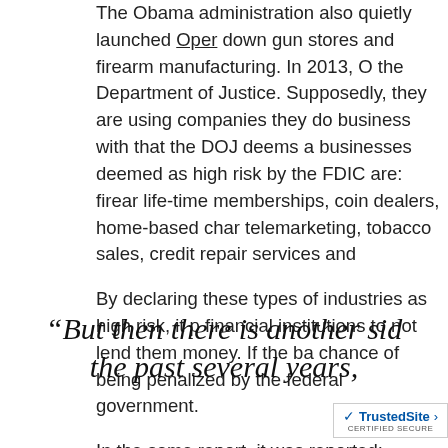The Obama administration also quietly launched Oper... down gun stores and firearm manufacturing. In 2013, O... the Department of Justice. Supposedly, they are using... companies they do business with that the DOJ deems a... businesses deemed as high risk by the FDIC are: firear... life-time memberships, coin dealers, home-based char... telemarketing, tobacco sales, credit repair services and...
By declaring these types of industries as high risk, it p... financial institutions to not lend them money. If the ba... chance of being penalized by the federal government.
In the same report, it was reported:
“But then there is another sid... the past several years,